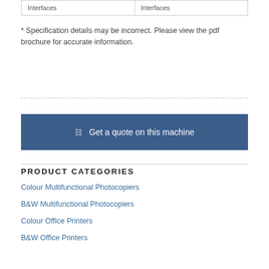| Interfaces | Interfaces |
| --- | --- |
* Specification details may be incorrect. Please view the pdf brochure for accurate information.
Get a quote on this machine
PRODUCT CATEGORIES
Colour Multifunctional Photocopiers
B&W Multifunctional Photocopiers
Colour Office Printers
B&W Office Printers